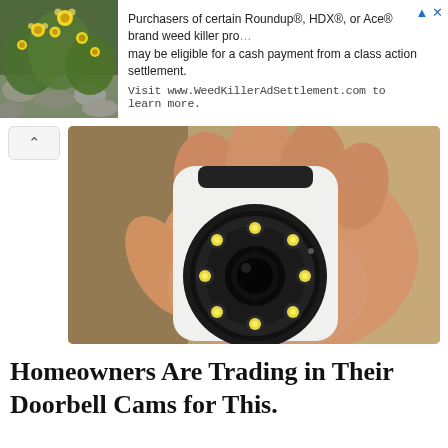[Figure (screenshot): Advertisement banner: plant/flower image on left, text about Roundup/HDX/Ace brand weed killer class action settlement, with link to WeedKillerAdSettlement.com]
[Figure (photo): A hand holding a small white smart security camera with a circular lens array with multiple LED lights around it]
Homeowners Are Trading in Their Doorbell Cams for This.
Keilini.com